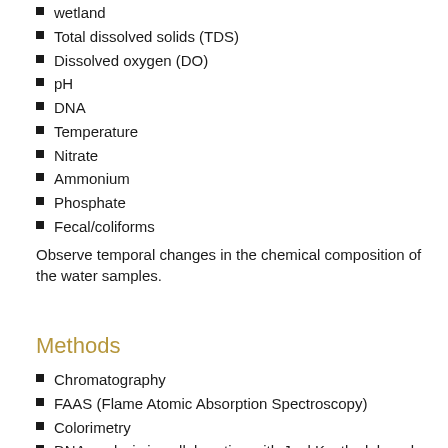wetland
Total dissolved solids (TDS)
Dissolved oxygen (DO)
pH
DNA
Temperature
Nitrate
Ammonium
Phosphate
Fecal/coliforms
Observe temporal changes in the chemical composition of the water samples.
Methods
Chromatography
FAAS (Flame Atomic Absorption Spectroscopy)
Colorimetry
DNA analysis in collaboration with Joel Kostka lab and Ph.D. students in Biology Department.
Procedure